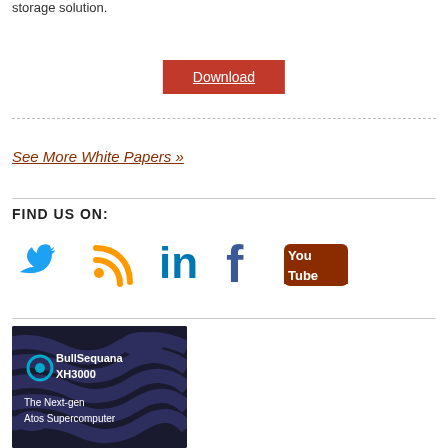storage solution.
Download
See More White Papers »
FIND US ON:
[Figure (illustration): Social media icons: Twitter (blue bird), RSS (orange), LinkedIn (blue), Facebook (blue f), YouTube (red/brown with Tube text)]
[Figure (photo): BullSequana XH3000 advertisement — dark swirling background with text: BullSequana XH3000, The Next-gen Atos Supercomputer]